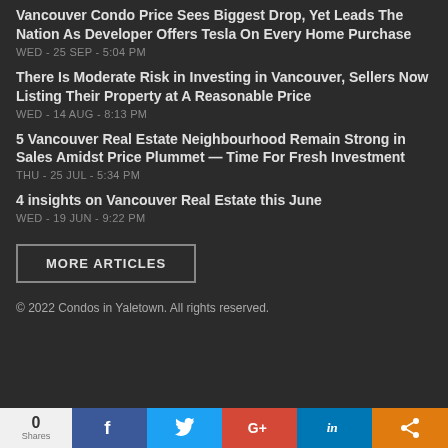Vancouver Condo Price Sees Biggest Drop, Yet Leads The Nation As Developer Offers Tesla On Every Home Purchase
WED - 25 SEP - 5:04 PM
There Is Moderate Risk in Investing in Vancouver, Sellers Now Listing Their Property at A Reasonable Price
WED - 14 AUG - 8:13 PM
5 Vancouver Real Estate Neighbourhood Remain Strong in Sales Amidst Price Plummet — Time For Fresh Investment
THU - 25 JUL - 5:34 PM
4 insights on Vancouver Real Estate this June
WED - 19 JUN - 9:22 PM
MORE ARTICLES
© 2022 Condos in Yaletown. All rights reserved.